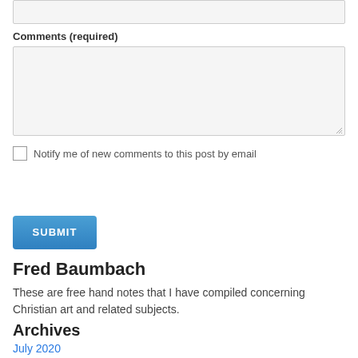[Figure (other): Top input field (text input box, partially visible at top of page)]
Comments (required)
[Figure (other): Large textarea input box for comments]
Notify me of new comments to this post by email
[Figure (other): SUBMIT button, blue rounded rectangle]
Fred Baumbach
These are free hand notes that I have compiled concerning Christian art and related subjects.
Archives
July 2020